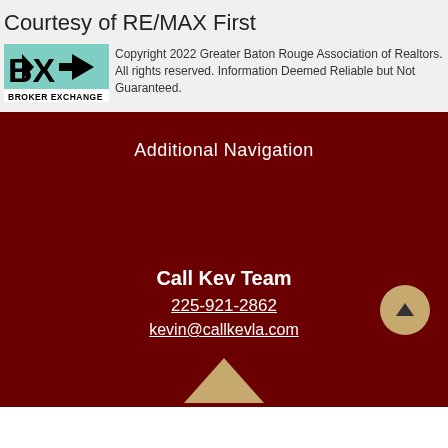Courtesy of RE/MAX First
[Figure (logo): Broker Exchange logo — BX with arrow, text BROKER EXCHANGE below]
Copyright 2022 Greater Baton Rouge Association of Realtors. All rights reserved. Information Deemed Reliable but Not Guaranteed.
Additional Navigation
Call Kev Team
225-921-2862
kevin@callkevla.com